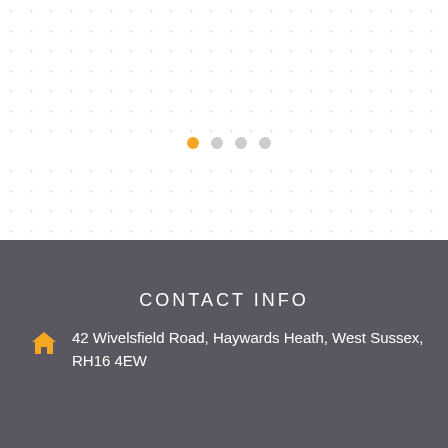[Figure (other): White background section with dot grid pattern and pagination indicator dots (one orange active dot and three grey inactive dots)]
CONTACT INFO
42 Wivelsfield Road, Haywards Heath, West Sussex, RH16 4EW